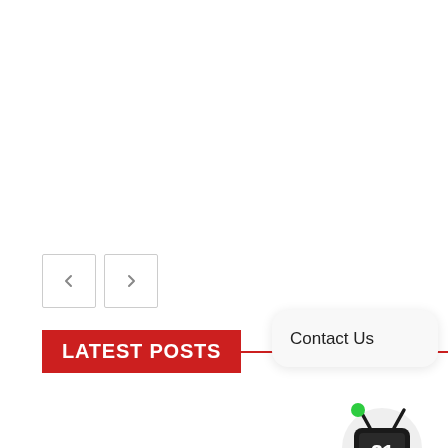[Figure (other): Navigation previous and next arrow buttons (outlined square buttons with left and right chevron arrows)]
LATEST POSTS
Contact Us
[Figure (logo): TV channel 21 logo: a stylized television icon with antenna and the number 21, with a green dot indicator]